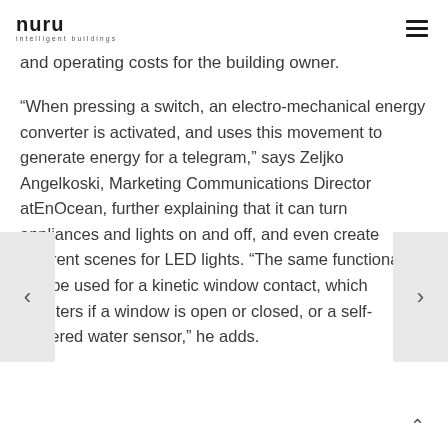nuru intelligent buildings
and operating costs for the building owner.
“When pressing a switch, an electro-mechanical energy converter is activated, and uses this movement to generate energy for a telegram,” says Zeljko Angelkoski, Marketing Communications Director atEnOcean, further explaining that it can turn appliances and lights on and off, and even create different scenes for LED lights. “The same functionality can be used for a kinetic window contact, which registers if a window is open or closed, or a self-powered water sensor,” he adds.